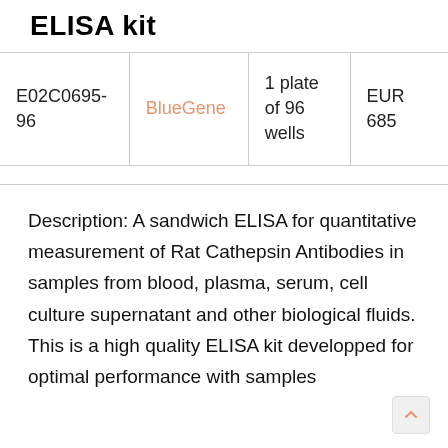ELISA kit
|  |  |  |  |
| --- | --- | --- | --- |
| E02C0695-96 | BlueGene | 1 plate of 96 wells | EUR 685 |
Description: A sandwich ELISA for quantitative measurement of Rat Cathepsin Antibodies in samples from blood, plasma, serum, cell culture supernatant and other biological fluids. This is a high quality ELISA kit developped for optimal performance with samples